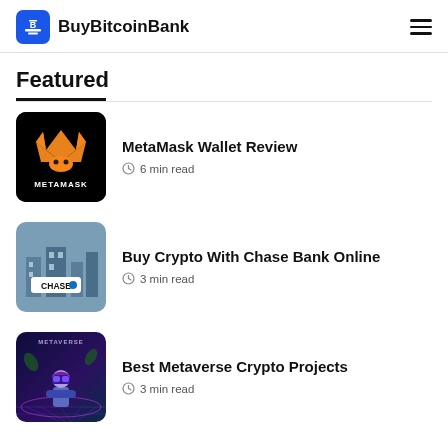BuyBitcoinBank
Featured
[Figure (illustration): MetaMask logo on black background]
MetaMask Wallet Review
6 min read
[Figure (illustration): Chase bank logo illustration with blue background]
Buy Crypto With Chase Bank Online
3 min read
[Figure (illustration): Metaverse crypto themed illustration with person in VR headset]
Best Metaverse Crypto Projects
3 min read